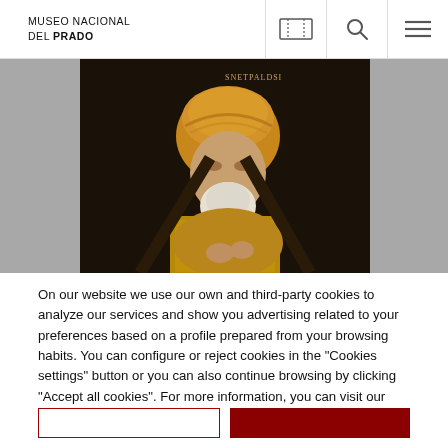MUSEO NACIONAL DEL PRADO
[Figure (photo): Portrait painting of a bearded man wearing a golden turban and ornate robes, dark background, with text inscription at top right reading 'SENETPALDSI' or similar, in old master style.]
On our website we use our own and third-party cookies to analyze our services and show you advertising related to your preferences based on a profile prepared from your browsing habits. You can configure or reject cookies in the "Cookies settings" button or you can also continue browsing by clicking "Accept all cookies". For more information, you can visit our cookie policy _.